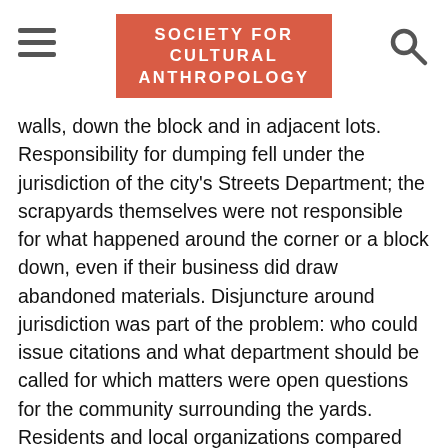SOCIETY FOR CULTURAL ANTHROPOLOGY
walls, down the block and in adjacent lots. Responsibility for dumping fell under the jurisdiction of the city's Streets Department; the scrapyards themselves were not responsible for what happened around the corner or a block down, even if their business did draw abandoned materials. Disjuncture around jurisdiction was part of the problem: who could issue citations and what department should be called for which matters were open questions for the community surrounding the yards. Residents and local organizations compared notes, but municipal responses were inconsistent and enforcement complex.